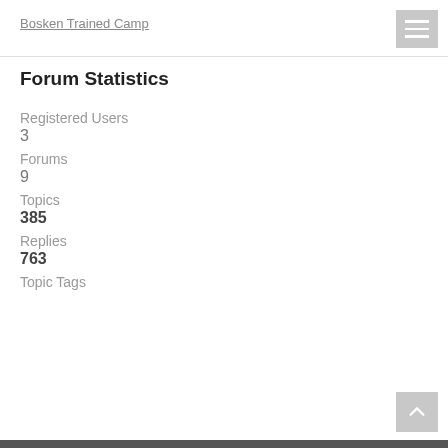Bosken Trained Camp
Forum Statistics
Registered Users
3
Forums
9
Topics
385
Replies
763
Topic Tags